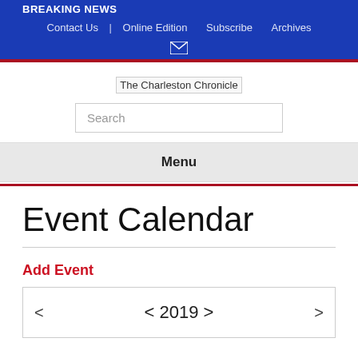BREAKING NEWS
Contact Us  Online Edition  Subscribe  Archives
[Figure (screenshot): Broken image placeholder for The Charleston Chronicle logo]
Search
Menu
Event Calendar
Add Event
< 2019 >